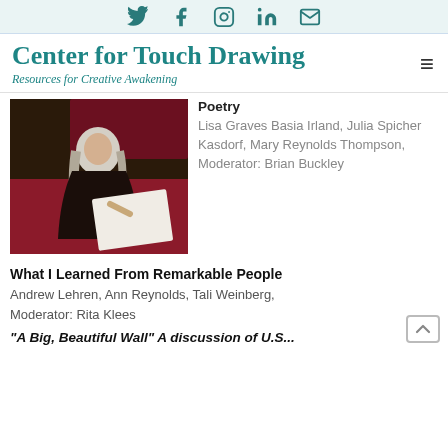Social icons: Twitter, Facebook, Instagram, LinkedIn, Email
Center for Touch Drawing — Resources for Creative Awakening
[Figure (photo): Woman with long grey hair sitting and drawing on a large white paper, in front of a red draped table, at what appears to be a public event. She is wearing a dark floral top.]
Poetry
Lisa Graves Basia Irland, Julia Spicher Kasdorf, Mary Reynolds Thompson, Moderator: Brian Buckley
What I Learned From Remarkable People
Andrew Lehren, Ann Reynolds, Tali Weinberg, Moderator: Rita Klees
"A Big, Beautiful Wall" A discussion of U.S...